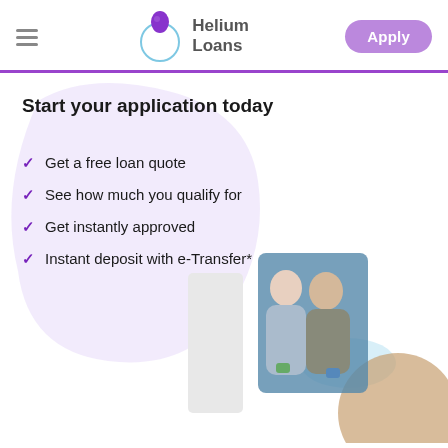Helium Loans — Apply
Start your application today
Get a free loan quote
See how much you qualify for
Get instantly approved
Instant deposit with e-Transfer*
[Figure (photo): A smiling couple sitting together, the woman holding a green mug, the man holding a blue mug, in a bright home setting]